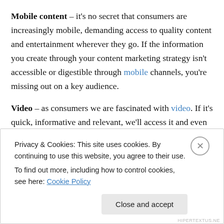Mobile content – it's no secret that consumers are increasingly mobile, demanding access to quality content and entertainment wherever they go. If the information you create through your content marketing strategy isn't accessible or digestible through mobile channels, you're missing out on a key audience.
Video – as consumers we are fascinated with video. If it's quick, informative and relevant, we'll access it and even share it within our network. In fact, a Content Marketing Benchmark report found that 56 percent of marketers are
Privacy & Cookies: This site uses cookies. By continuing to use this website, you agree to their use.
To find out more, including how to control cookies, see here: Cookie Policy